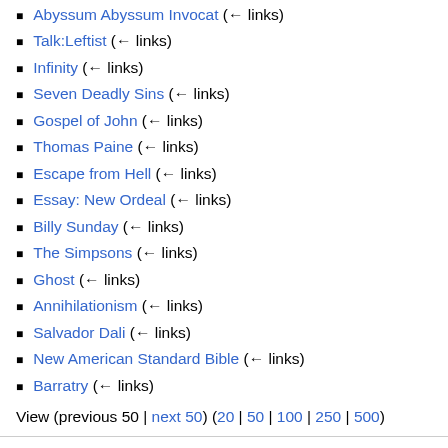Abyssum Abyssum Invocat (← links)
Talk:Leftist (← links)
Infinity (← links)
Seven Deadly Sins (← links)
Gospel of John (← links)
Thomas Paine (← links)
Escape from Hell (← links)
Essay: New Ordeal (← links)
Billy Sunday (← links)
The Simpsons (← links)
Ghost (← links)
Annihilationism (← links)
Salvador Dali (← links)
New American Standard Bible (← links)
Barratry (← links)
View (previous 50 | next 50) (20 | 50 | 100 | 250 | 500)